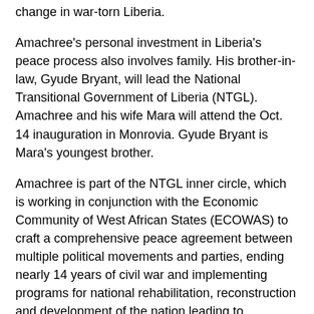change in war-torn Liberia.
Amachree's personal investment in Liberia's peace process also involves family. His brother-in-law, Gyude Bryant, will lead the National Transitional Government of Liberia (NTGL). Amachree and his wife Mara will attend the Oct. 14 inauguration in Monrovia. Gyude Bryant is Mara's youngest brother.
Amachree is part of the NTGL inner circle, which is working in conjunction with the Economic Community of West African States (ECOWAS) to craft a comprehensive peace agreement between multiple political movements and parties, ending nearly 14 years of civil war and implementing programs for national rehabilitation, reconstruction and development of the nation leading to democratic elections in 2005.
The peace agreement calls on the United Nations, in